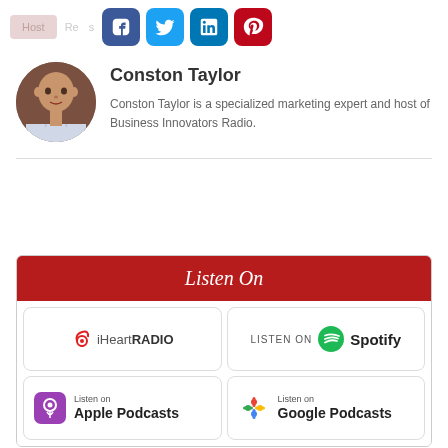[Figure (infographic): Social media share buttons: Facebook (blue), Twitter (light blue), LinkedIn (dark blue), Pinterest (red)]
[Figure (photo): Circular headshot photo of Conston Taylor, a man in a plaid shirt]
Conston Taylor
Conston Taylor is a specialized marketing expert and host of Business Innovators Radio.
[Figure (infographic): Listen On section with podcast platform buttons: iHeartRADIO, Spotify, Apple Podcasts, Google Podcasts]